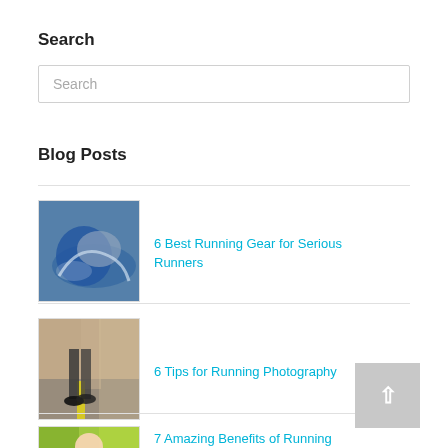Search
Search
Blog Posts
6 Best Running Gear for Serious Runners
6 Tips for Running Photography
7 Amazing Benefits of Running